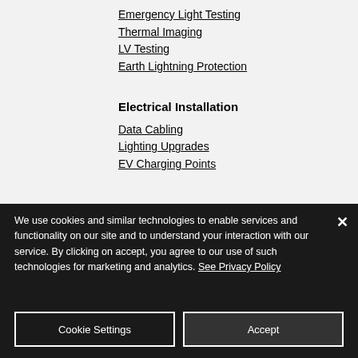Emergency Light Testing
Thermal Imaging
LV Testing
Earth Lightning Protection
Electrical Installation
Data Cabling
Lighting Upgrades
EV Charging Points
We use cookies and similar technologies to enable services and functionality on our site and to understand your interaction with our service. By clicking on accept, you agree to our use of such technologies for marketing and analytics. See Privacy Policy
Cookie Settings | Accept